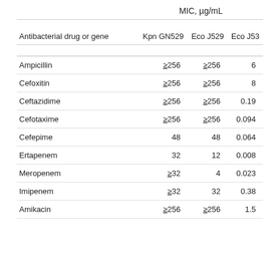| Antibacterial drug or gene | Kpn GN529 | Eco J529 | Eco J53 |
| --- | --- | --- | --- |
| Ampicillin | ≥256 | ≥256 | 6 |
| Cefoxitin | ≥256 | ≥256 | 8 |
| Ceftazidime | ≥256 | ≥256 | 0.19 |
| Cefotaxime | ≥256 | ≥256 | 0.094 |
| Cefepime | 48 | 48 | 0.064 |
| Ertapenem | 32 | 12 | 0.008 |
| Meropenem | ≥32 | 4 | 0.023 |
| Imipenem | ≥32 | 32 | 0.38 |
| Amikacin | ≥256 | ≥256 | 1.5 |